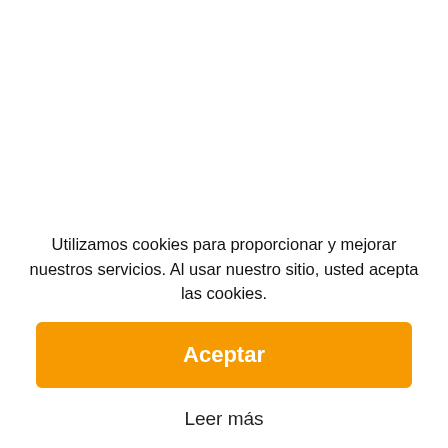[Figure (other): Circular filter/settings button with horizontal lines icon, positioned top right]
Georg
gana
esto...
👤 por Justin Lewis
Utilizamos cookies para proporcionar y mejorar nuestros servicios. Al usar nuestro sitio, usted acepta las cookies.
Aceptar
Leer más